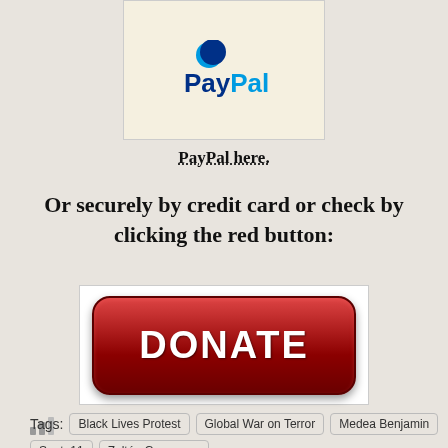[Figure (logo): PayPal logo on cream/light yellow background]
PayPal here.
Or securely by credit card or check by clicking the red button:
[Figure (illustration): Red DONATE button with rounded corners and gradient]
[Figure (infographic): Small bar chart icon (signal/stats bars)]
Tags:  Black Lives Protest   Global War on Terror   Medea Benjamin   Sept. 11   Zoltán Grossman
Translate »